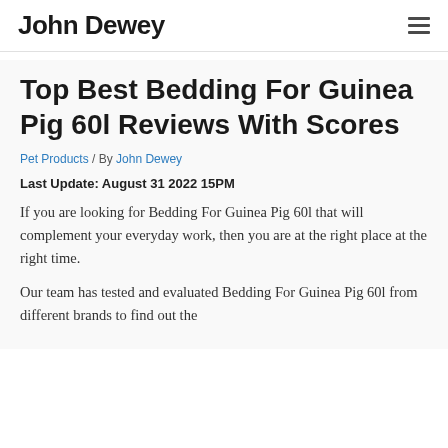John Dewey
Top Best Bedding For Guinea Pig 60l Reviews With Scores
Pet Products / By John Dewey
Last Update: August 31 2022 15PM
If you are looking for Bedding For Guinea Pig 60l that will complement your everyday work, then you are at the right place at the right time.
Our team has tested and evaluated Bedding For Guinea Pig 60l from different brands to find out the